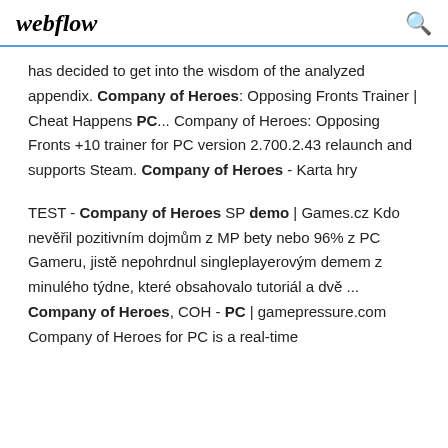webflow
has decided to get into the wisdom of the analyzed appendix. Company of Heroes: Opposing Fronts Trainer | Cheat Happens PC... Company of Heroes: Opposing Fronts +10 trainer for PC version 2.700.2.43 relaunch and supports Steam. Company of Heroes - Karta hry
TEST - Company of Heroes SP demo | Games.cz Kdo nevěřil pozitivním dojmům z MP bety nebo 96% z PC Gameru, jistě nepohrdnul singleplayerovým demem z minulého týdne, které obsahovalo tutoriál a dvě ... Company of Heroes, COH - PC | gamepressure.com Company of Heroes for PC is a real-time